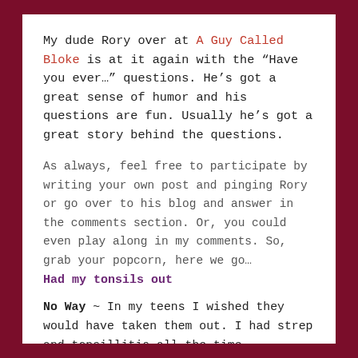My dude Rory over at A Guy Called Bloke is at it again with the "Have you ever..." questions. He's got a great sense of humor and his questions are fun. Usually he's got a great story behind the questions.
As always, feel free to participate by writing your own post and pinging Rory or go over to his blog and answer in the comments section. Or, you could even play along in my comments. So, grab your popcorn, here we go...
Had my tonsils out
No Way ~ In my teens I wished they would have taken them out. I had strep and tonsillitis all the time.